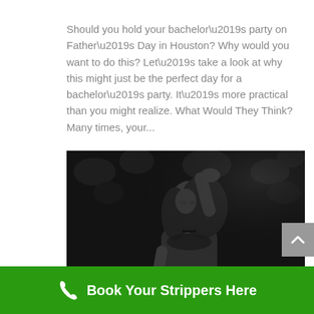Should you hold your bachelor’s party on Father’s Day in Houston? Why would you want to do this? Let’s take a look at why this might just be the perfect day for a bachelor’s party. It’s more practical than you might realize. What Would They Think? Many times, your...
[Figure (photo): Black and white photo of a woman posing with one arm raised above her head, wearing dark lingerie, against a dark floral background.]
Book Your Strippers Here